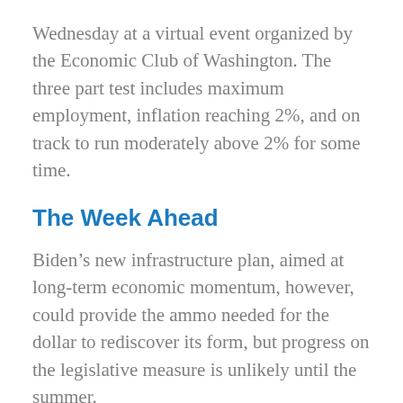Wednesday at a virtual event organized by the Economic Club of Washington. The three part test includes maximum employment, inflation reaching 2%, and on track to run moderately above 2% for some time.
The Week Ahead
Biden's new infrastructure plan, aimed at long-term economic momentum, however, could provide the ammo needed for the dollar to rediscover its form, but progress on the legislative measure is unlikely until the summer.
“The infrastructure plan is contentious, and if it were to pass Congress, would only become more